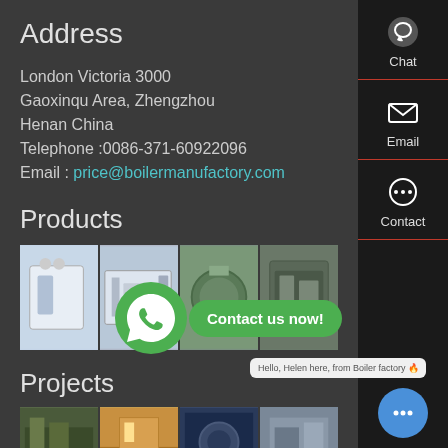Address
London Victoria 3000
Gaoxinqu Area, Zhengzhou
Henan China
Telephone :0086-371-60922096
Email : price@boilermanufactory.com
Products
[Figure (photo): Four product images showing industrial boilers and equipment]
[Figure (infographic): WhatsApp contact button with 'Contact us now!' green bubble overlay]
Projects
[Figure (photo): Four project images showing boiler installations]
[Figure (screenshot): Sidebar with Chat, Email, Contact icons and a chat bubble saying 'Hello, Helen here, from Boiler factory']